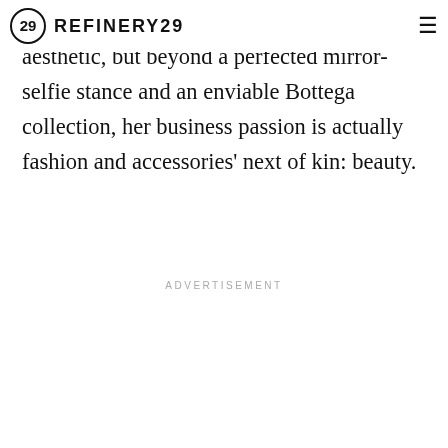REFINERY29
aesthetic, but beyond a perfected mirror-selfie stance and an enviable Bottega collection, her business passion is actually fashion and accessories' next of kin: beauty.
ADVERTISEMENT